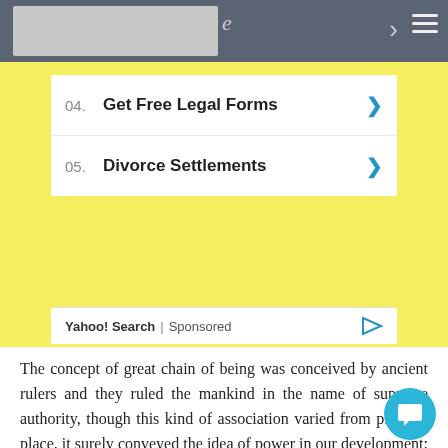[Figure (screenshot): Top navigation bar with gray thumbnail image, partial letter 'e', forward arrow, and hamburger menu icon on dark gray background]
04. Get Free Legal Forms
05. Divorce Settlements
Yahoo! Search | Sponsored
The concept of great chain of being was conceived by ancient rulers and they ruled the mankind in the name of supreme authority, though this kind of association varied from place to place, it surely conveyed the idea of power in our development; with the flow of time we endorse new ideas emerged due to social and political demand, such as, ideas of right or wrong, power and politics and which manifest in the operation of constitutional constitutionalism. These are not just ideas but the implication